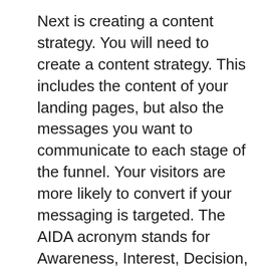Next is creating a content strategy. You will need to create a content strategy. This includes the content of your landing pages, but also the messages you want to communicate to each stage of the funnel. Your visitors are more likely to convert if your messaging is targeted. The AIDA acronym stands for Awareness, Interest, Decision, and Action. Each stage represents a distinct mindset of the potential customer. The message you send to the customer can be misinterpreted.
When you are creating your sales channel, think about how it can be customized to your business. Your funnel should reflect the behavior of your customers. Creating a